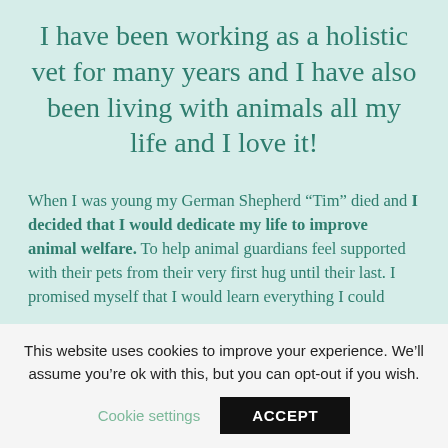I have been working as a holistic vet for many years and I have also been living with animals all my life and I love it!
When I was young my German Shepherd “Tim” died and I decided that I would dedicate my life to improve animal welfare. To help animal guardians feel supported with their pets from their very first hug until their last. I promised myself that I would learn everything I could
This website uses cookies to improve your experience. We’ll assume you’re ok with this, but you can opt-out if you wish.
Cookie settings
ACCEPT